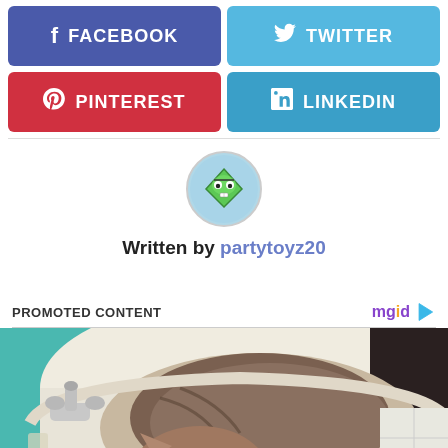[Figure (screenshot): Social share buttons: Facebook (blue-purple), Twitter (light blue), Pinterest (red), LinkedIn (blue)]
[Figure (illustration): Cartoon avatar of partytoyz20 — a green diamond shape with a face on a light blue circle background]
Written by partytoyz20
PROMOTED CONTENT
[Figure (photo): A tabby cat sitting inside a bathroom sink, with a chrome faucet and teal wall visible in the background]